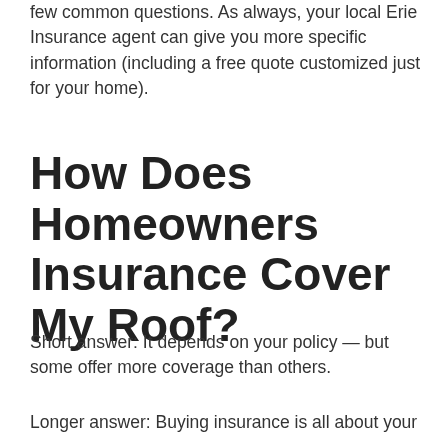few common questions. As always, your local Erie Insurance agent can give you more specific information (including a free quote customized just for your home).
How Does Homeowners Insurance Cover My Roof?
Short answer: It depends on your policy — but some offer more coverage than others.
Longer answer: Buying insurance is all about your comfort level with risk. And some so-called...